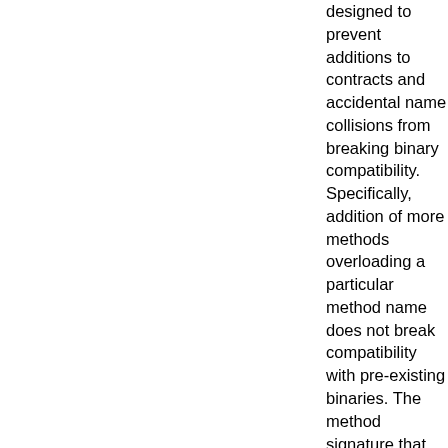designed to prevent additions to contracts and accidental name collisions from breaking binary compatibility. Specifically, addition of more methods overloading a particular method name does not break compatibility with pre-existing binaries. The method signature that the pre-existing